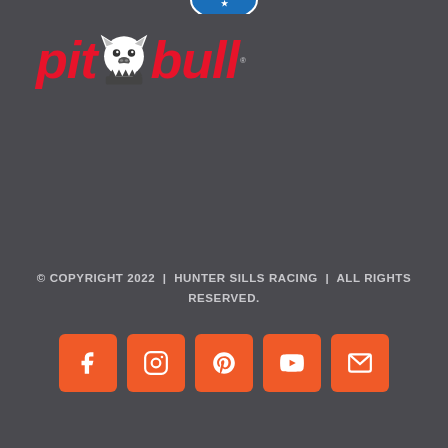[Figure (logo): Partial blue circular logo at top center, partially cropped]
[Figure (logo): Pit Bull brand logo with red italic text 'pit' and 'bull' flanking a white pit bull dog head graphic on dark background]
© COPYRIGHT 2022  |  HUNTER SILLS RACING  |  ALL RIGHTS RESERVED.
[Figure (infographic): Row of 5 orange rounded-square social media icon buttons: Facebook (f), Instagram (camera), Pinterest (P), YouTube (play), Email (envelope)]